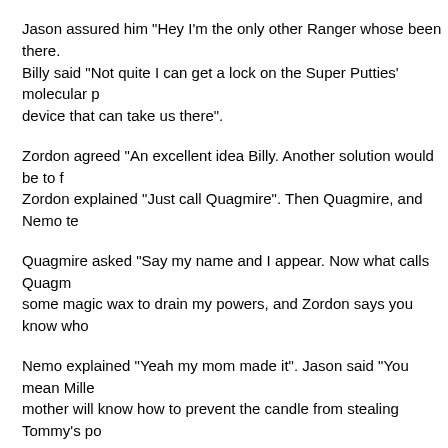Jason assured him "Hey I'm the only other Ranger whose been there. Billy said "Not quite I can get a lock on the Super Putties' molecular p device that can take us there".
Zordon agreed "An excellent idea Billy. Another solution would be to f Zordon explained "Just call Quagmire". Then Quagmire, and Nemo te
Quagmire asked "Say my name and I appear. Now what calls Quagm some magic wax to drain my powers, and Zordon says you know whe
Nemo explained "Yeah my mom made it". Jason said "You mean Mill mother will know how to prevent the candle from stealing Tommy's po
Quagmire agreed "If there's a way to keep Tommy's green glow. I'm s Dimension then we'll help him make the device to go there. Then I go of Illusion to see if Millennia can help". Everyone else nodded.
At her palace Rita gloated "Soon I'll have the Green Ranger's powers Rangers try to take the candle before it burns out?". Rita explained "R that".
Goldar agreed "And even if they did I'll be right there waiting for them